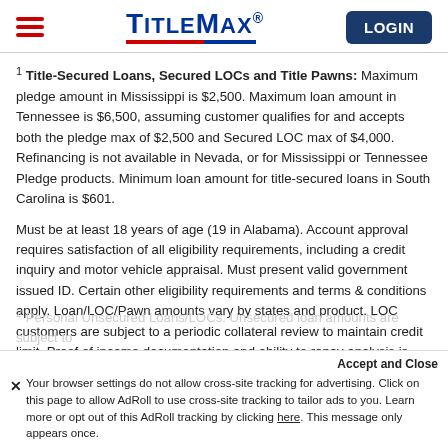TitleMax LOGIN
1 Title-Secured Loans, Secured LOCs and Title Pawns: Maximum pledge amount in Mississippi is $2,500. Maximum loan amount in Tennessee is $6,500, assuming customer qualifies for and accepts both the pledge max of $2,500 and Secured LOC max of $4,000. Refinancing is not available in Nevada, or for Mississippi or Tennessee Pledge products. Minimum loan amount for title-secured loans in South Carolina is $601.
Must be at least 18 years of age (19 in Alabama). Account approval requires satisfaction of all eligibility requirements, including a credit inquiry and motor vehicle appraisal. Must present valid government issued ID. Certain other eligibility requirements and terms & conditions apply. Loan/LOC/Pawn amounts vary by states and product. LOC customers are subject to a periodic collateral review to maintain credit limit. Proof of income documentation and ability to repay analysis is required in Missouri, Nevada, some Texas locations, and Utah.
2 Personal Unsecured Loans/LOCs: Unsecured loan amounts are subject to...
Your browser settings do not allow cross-site tracking for advertising. Click on this page to allow AdRoll to use cross-site tracking to tailor ads to you. Learn more or opt out of this AdRoll tracking by clicking here. This message only appears once.